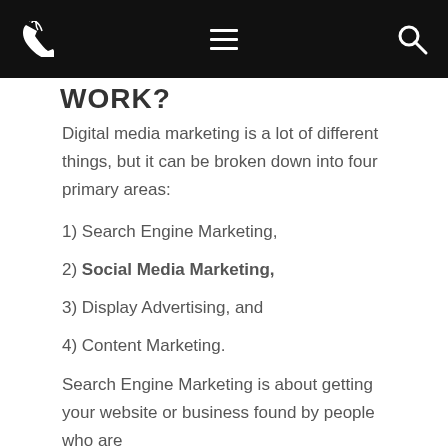WORK?
Digital media marketing is a lot of different things, but it can be broken down into four primary areas:
1) Search Engine Marketing,
2) Social Media Marketing,
3) Display Advertising, and
4) Content Marketing.
Search Engine Marketing is about getting your website or business found by people who are